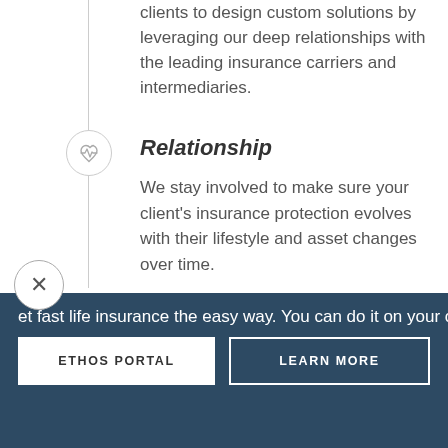clients to design custom solutions by leveraging our deep relationships with the leading insurance carriers and intermediaries.
Relationship
We stay involved to make sure your client's insurance protection evolves with their lifestyle and asset changes over time.
Communication
We respond quickly and efficiently on service issues and proactively
et fast life insurance the easy way. You can do it on your own th
ETHOS PORTAL
LEARN MORE